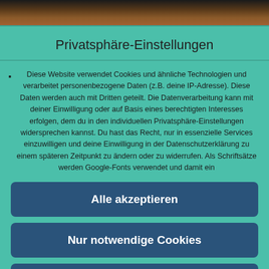[Figure (photo): Partial photo strip at the top of the page showing an outdoor landscape scene in dark brown/reddish tones]
Privatsphäre-Einstellungen
Diese Website verwendet Cookies und ähnliche Technologien und verarbeitet personenbezogene Daten (z.B. deine IP-Adresse). Diese Daten werden auch mit Dritten geteilt. Die Datenverarbeitung kann mit deiner Einwilligung oder auf Basis eines berechtigten Interesses erfolgen, dem du in den individuellen Privatsphäre-Einstellungen widersprechen kannst. Du hast das Recht, nur in essenzielle Services einzuwilligen und deine Einwilligung in der Datenschutzerklärung zu einem späteren Zeitpunkt zu ändern oder zu widerrufen. Als Schriftsätze werden Google-Fonts verwendet und damit ein
Alle akzeptieren
Nur notwendige Cookies
Individuelle Privatsphäre-Einstellungen
Datenschutzerklärung • Impressum
WordPress Cookie Plugin von Real Cookie Banner